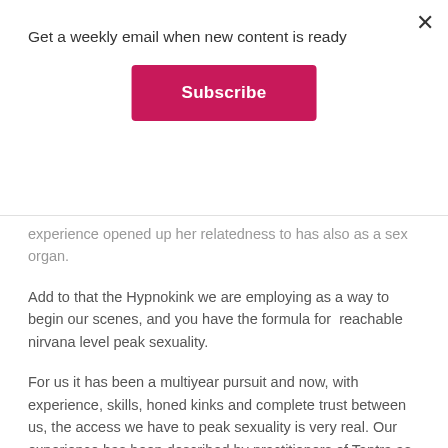Get a weekly email when new content is ready
Subscribe
experience opened up her relatedness to has also as a sex organ.
Add to that the Hypnokink we are employing as a way to begin our scenes, and you have the formula for  reachable nirvana level peak sexuality.
For us it has been a multiyear pursuit and now, with experience, skills, honed kinks and complete trust between us, the access we have to peak sexuality is very real. Our experience has been described by practitioners of Tantra as quite remarkable and approaching a state of cosmic energy, here is what